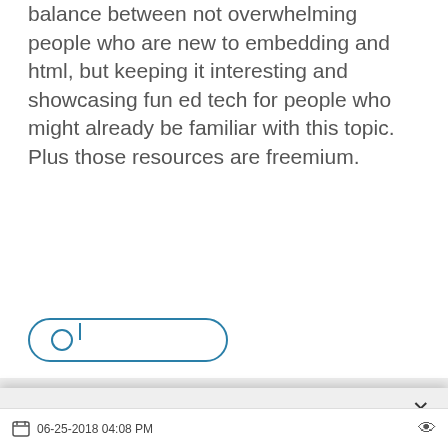balance between not overwhelming people who are new to embedding and html, but keeping it interesting and showcasing fun ed tech for people who might already be familiar with this topic.  Plus those resources are freemium.
[Figure (screenshot): Partially visible UI button with teal/blue border, rounded rectangle shape, with a small circle icon on the left side]
By continuing to browse or by clicking "I Accept", you agree to the storing of first- and third-party cookies on your device to enhance site navigation, analyze site usage, and assist in our marketing efforts. Privacy Policy
I Accept
Cookies Settings
06-25-2018 04:08 PM